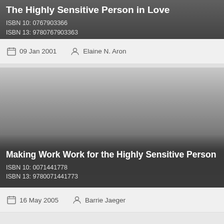The Highly Sensitive Person in Love
ISBN 10: 0767903366
ISBN 13: 9780767903363
09 Jan 2001   Elaine N. Aron
[Figure (photo): Book cover image for Making Work Work for the Highly Sensitive Person, gradient gray background]
Making Work Work for the Highly Sensitive Person
ISBN 10: 0071441778
ISBN 13: 9780071441773
16 May 2005   Barrie Jaeger